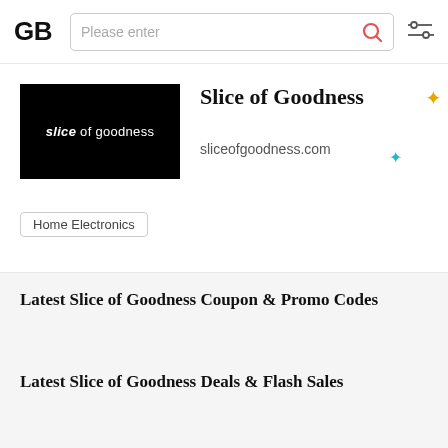GB | Please enter | [search icon] | [filter icon]
[Figure (logo): Slice of Goodness store logo: black background with white italic 'slice' and 'of goodness' text]
Slice of Goodness
sliceofgoodness.com
Home Electronics
Latest Slice of Goodness Coupon & Promo Codes
Latest Slice of Goodness Deals & Flash Sales